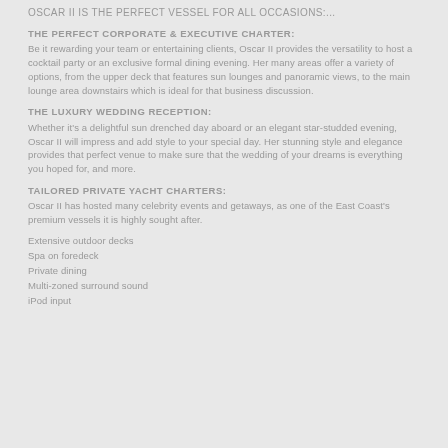OSCAR II IS THE PERFECT VESSEL FOR ALL OCCASIONS:...
THE PERFECT CORPORATE & EXECUTIVE CHARTER:
Be it rewarding your team or entertaining clients, Oscar II provides the versatility to host a cocktail party or an exclusive formal dining evening. Her many areas offer a variety of options, from the upper deck that features sun lounges and panoramic views, to the main lounge area downstairs which is ideal for that business discussion.
THE LUXURY WEDDING RECEPTION:
Whether it's a delightful sun drenched day aboard or an elegant star-studded evening, Oscar II will impress and add style to your special day. Her stunning style and elegance provides that perfect venue to make sure that the wedding of your dreams is everything you hoped for, and more.
TAILORED PRIVATE YACHT CHARTERS:
Oscar II has hosted many celebrity events and getaways, as one of the East Coast's premium vessels it is highly sought after.
Extensive outdoor decks
Spa on foredeck
Private dining
Multi-zoned surround sound
iPod input